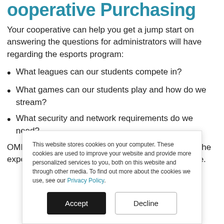Cooperative Purchasing
Your cooperative can help you get a jump start on answering the questions for administrators will have regarding the esports program:
What leagues can our students compete in?
What games can our students play and how do we stream?
What security and network requirements do we need?
OMNIA Partners supplier Insight Public Sector has the expertise to guide you through your esports initiative.
This website stores cookies on your computer. These cookies are used to improve your website and provide more personalized services to you, both on this website and through other media. To find out more about the cookies we use, see our Privacy Policy.